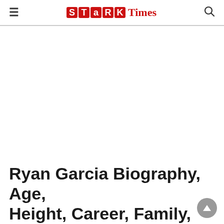≡  STARK Times  🔍
[Figure (other): Advertisement / blank white space area]
Ryan Garcia Biography, Age, Height, Career, Family, Facts